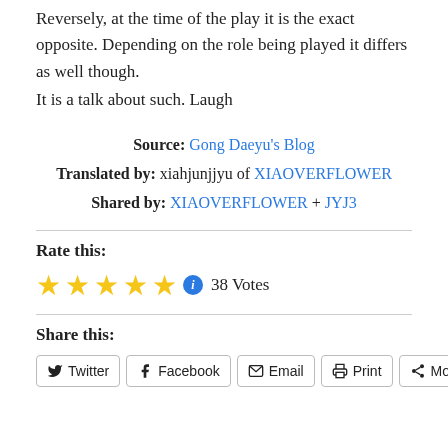Reversely, at the time of the play it is the exact opposite. Depending on the role being played it differs as well though.
It is a talk about such. Laugh
Source: Gong Daeyu's Blog
Translated by: xiahjunjjyu of XIAOVERFLOWER
Shared by: XIAOVERFLOWER + JYJ3
Rate this:
38 Votes
Share this:
Twitter  Facebook  Email  Print  More